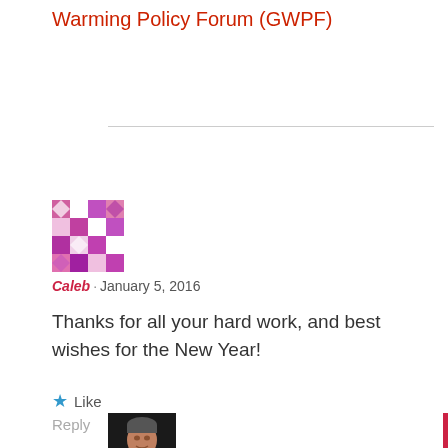Warming Policy Forum (GWPF)
Caleb · January 5, 2016
Thanks for all your hard work, and best wishes for the New Year!
★ Like
Reply